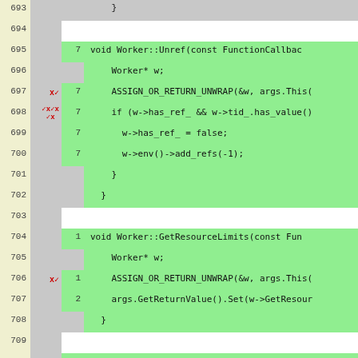[Figure (screenshot): Code coverage viewer showing C++ source code lines 693-717 with line numbers, hit counts, and green/gray highlighting. Contains Worker::Unref and Worker::GetResourceLimits functions.]